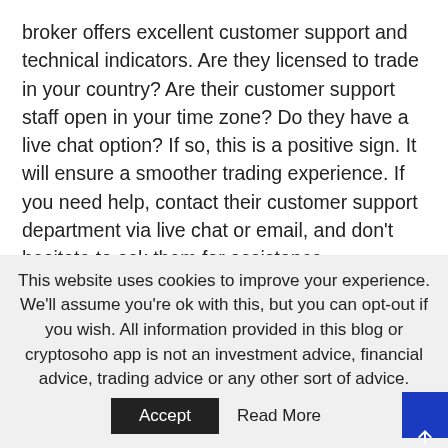broker offers excellent customer support and technical indicators. Are they licensed to trade in your country? Are their customer support staff open in your time zone? Do they have a live chat option? If so, this is a positive sign. It will ensure a smoother trading experience. If you need help, contact their customer support department via live chat or email, and don’t hesitate to ask them for assistance.
Transparency: AvaTrade is a highly secure and transparent broker. This broker provides trading for over
This website uses cookies to improve your experience. We'll assume you're ok with this, but you can opt-out if you wish. All information provided in this blog or cryptosoho app is not an investment advice, financial advice, trading advice or any other sort of advice.